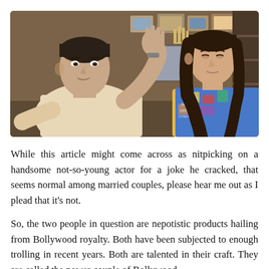[Figure (photo): Two people sitting side by side in an indoor setting. On the left is a man in a beige/cream sweater gesturing with his right hand raised, palm open. On the right is a woman wearing a colorful graphic top with long wavy hair, looking down. Behind them are framed pictures, a decorative object, and shelving.]
While this article might come across as nitpicking on a handsome not-so-young actor for a joke he cracked, that seems normal among married couples, please hear me out as I plead that it's not.
So, the two people in question are nepotistic products hailing from Bollywood royalty. Both have been subjected to enough trolling in recent years. Both are talented in their craft. They are called the power couple of Bollywood.